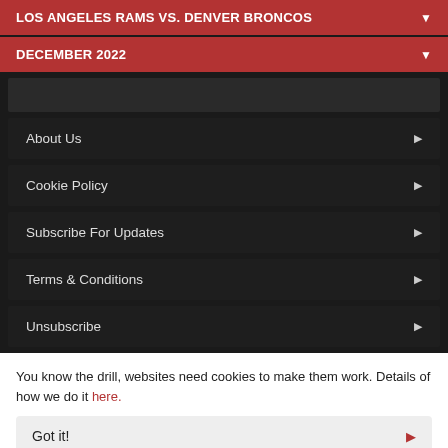LOS ANGELES RAMS VS. DENVER BRONCOS
DECEMBER 2022
About Us
Cookie Policy
Subscribe For Updates
Terms & Conditions
Unsubscribe
You know the drill, websites need cookies to make them work. Details of how we do it here.
Got it!